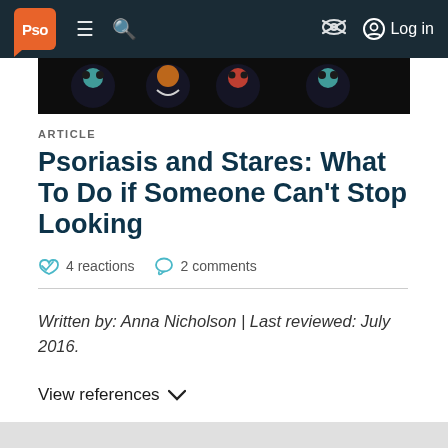Pso — Menu Search — Log in
[Figure (illustration): Colorful illustrated banner with circular face designs on dark background]
ARTICLE
Psoriasis and Stares: What To Do if Someone Can't Stop Looking
4 reactions  2 comments
Written by: Anna Nicholson | Last reviewed: July 2016.
View references